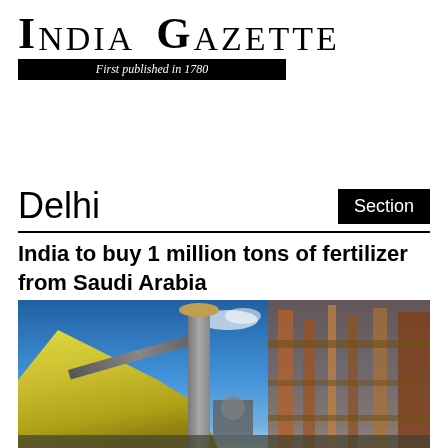INDIA GAZETTE — First published in 1780
Delhi
India to buy 1 million tons of fertilizer from Saudi Arabia
[Figure (photo): Industrial fertilizer plant with yellow sulfur/fertilizer piles in foreground, a tall chimney stack in the center, industrial piping structures on the right, conveyor belt, and blue sky with light cloud in background.]